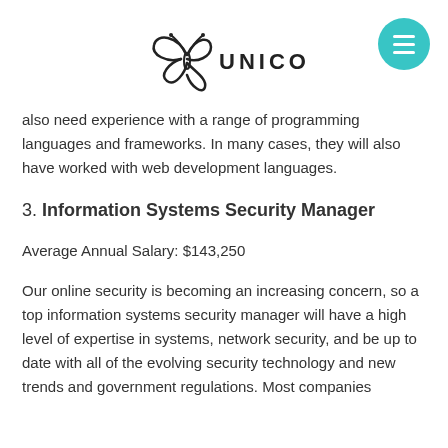[Figure (logo): Unicorn logo with stylized butterfly/crown icon and the word UNICORN in capital letters]
also need experience with a range of programming languages and frameworks. In many cases, they will also have worked with web development languages.
3. Information Systems Security Manager
Average Annual Salary: $143,250
Our online security is becoming an increasing concern, so a top information systems security manager will have a high level of expertise in systems, network security, and be up to date with all of the evolving security technology and new trends and government regulations. Most companies